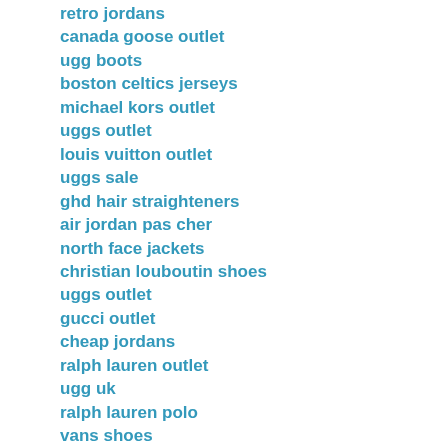retro jordans
canada goose outlet
ugg boots
boston celtics jerseys
michael kors outlet
uggs outlet
louis vuitton outlet
uggs sale
ghd hair straighteners
air jordan pas cher
north face jackets
christian louboutin shoes
uggs outlet
gucci outlet
cheap jordans
ralph lauren outlet
ugg uk
ralph lauren polo
vans shoes
coach outlet online
adidas nmd
20169.2wengdongdong